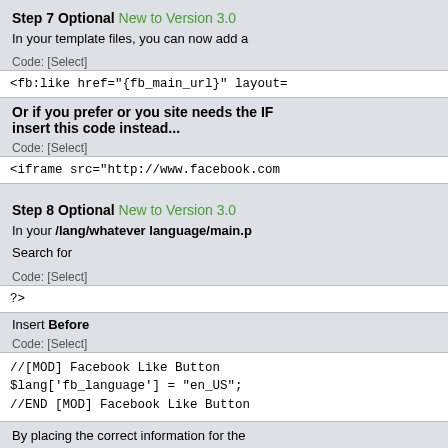Step 7 Optional New to Version 3.0
In your template files, you can now add a
Code: [Select]
<fb:like href="{fb_main_url}" layout
Or if you prefer or you site needs the IF insert this code instead...
Code: [Select]
<iframe src="http://www.facebook.com
Step 8 Optional New to Version 3.0
In your /lang/whatever language/main.p
Search for
Code: [Select]
?>
Insert Before
Code: [Select]
//[MOD] Facebook Like Button
$lang['fb_language'] = "en_US";
//END [MOD] Facebook Like Button
By placing the correct information for the when a user is using that language, the L You can look at the array placed in step 6 languages